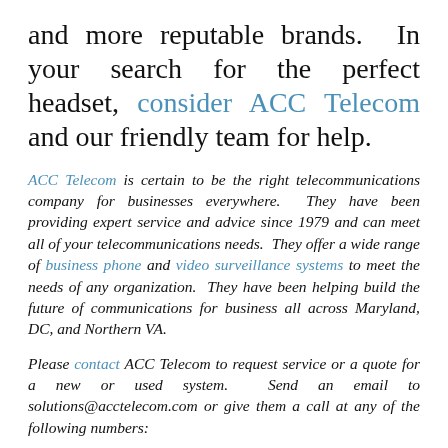and more reputable brands. In your search for the perfect headset, consider ACC Telecom and our friendly team for help.
ACC Telecom is certain to be the right telecommunications company for businesses everywhere. They have been providing expert service and advice since 1979 and can meet all of your telecommunications needs. They offer a wide range of business phone and video surveillance systems to meet the needs of any organization. They have been helping build the future of communications for business all across Maryland, DC, and Northern VA.
Please contact ACC Telecom to request service or a quote for a new or used system. Send an email to solutions@acctelecom.com or give them a call at any of the following numbers:
410-995-0101 (main)
888-226-2216 (toll-free)